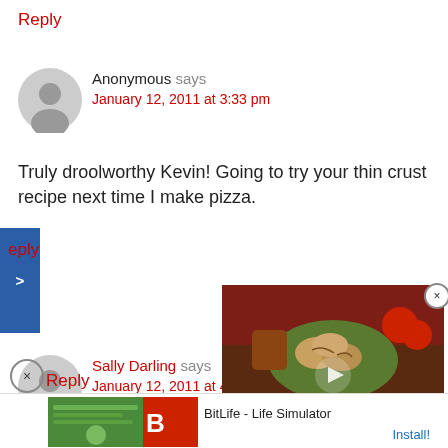Reply
Anonymous says
January 12, 2011 at 3:33 pm
Truly droolworthy Kevin! Going to try your thin crust recipe next time I make pizza.
eply
Sally Darling says
January 12, 2011 at 4:2...
[Figure (screenshot): Video thumbnail showing Apple Pie Bites with food imagery]
FANTASTIC job. This looks incr... and oh so delicous! Great job
Reply
[Figure (screenshot): Ad banner for BitLife - Life Simulator game with Install button]